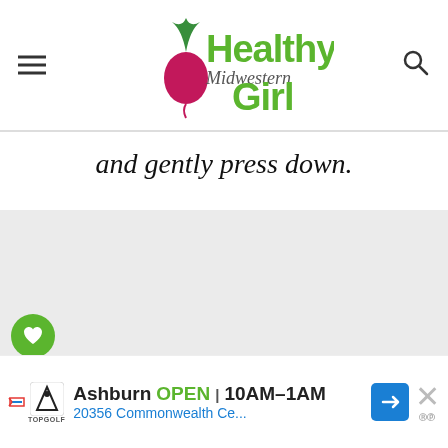Healthy Midwestern Girl
and gently press down.
[Figure (illustration): Gray placeholder image area]
[Figure (infographic): Social sidebar with heart icon (green circle), 2.9K count, and share button]
WHAT'S NEXT → Vegan Easy Cheezy Sauce
[Figure (photo): Thumbnail image of Vegan Easy Cheezy Sauce in a small container]
[Figure (infographic): Ad banner: Ashburn OPEN 10AM-1AM 20356 Commonwealth Ce... with Topgolf logo and navigation arrow icon]